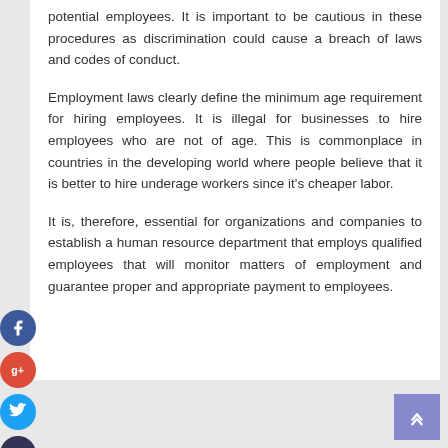potential employees. It is important to be cautious in these procedures as discrimination could cause a breach of laws and codes of conduct.
Employment laws clearly define the minimum age requirement for hiring employees. It is illegal for businesses to hire employees who are not of age. This is commonplace in countries in the developing world where people believe that it is better to hire underage workers since it's cheaper labor.
It is, therefore, essential for organizations and companies to establish a human resource department that employs qualified employees that will monitor matters of employment and guarantee proper and appropriate payment to employees.